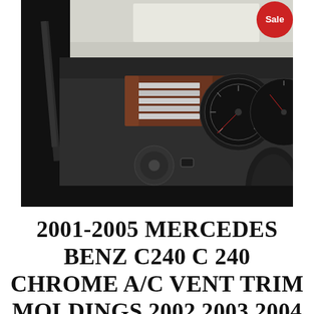[Figure (photo): Interior photo of a Mercedes Benz C240 dashboard showing chrome A/C vent trim moldings with wood grain accents, gauge cluster with red needle, and steering column controls. A red 'Sale' badge appears in the top right corner.]
2001-2005 MERCEDES BENZ C240 C 240 CHROME A/C VENT TRIM MOLDINGS 2002 2003 2004